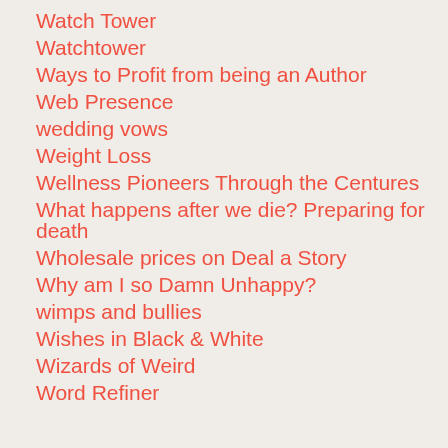Watch Tower
Watchtower
Ways to Profit from being an Author
Web Presence
wedding vows
Weight Loss
Wellness Pioneers Through the Centures
What happens after we die? Preparing for death
Wholesale prices on Deal a Story
Why am I so Damn Unhappy?
wimps and bullies
Wishes in Black & White
Wizards of Weird
Word Refiner